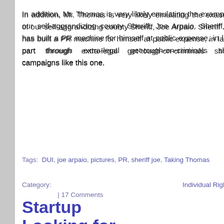In addition, Mr. Thomas is very likely emulating the example of our self-aggrandizing county Sheriff, Joe Arpaio. Sheriff Joe has built a PR machine for himself at public expense, in large part through extra-legal get-tough-on-criminals show-campaigns like this one.
Tags: DUI, joe arpaio, pictures, PR, sheriff joe, Taking Thomas
Category: Individual Rights | 17 Comments
Startup Looking for